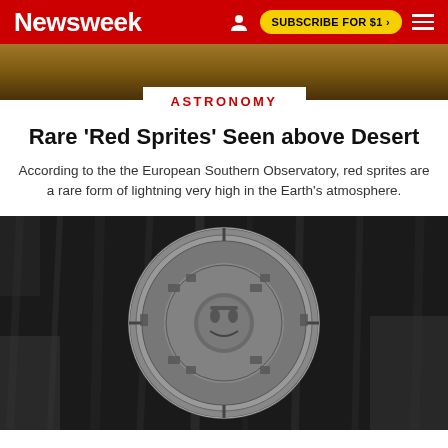Newsweek | SUBSCRIBE FOR $1 >
[Figure (photo): Top banner photo showing desert landscape with warm brown and orange tones]
ASTRONOMY
Rare 'Red Sprites' Seen above Desert
According to the the European Southern Observatory, red sprites are a rare form of lightning very high in the Earth's atmosphere.
[Figure (photo): Black and white photograph of a circular Mayan calendar stone carving lying on grass]